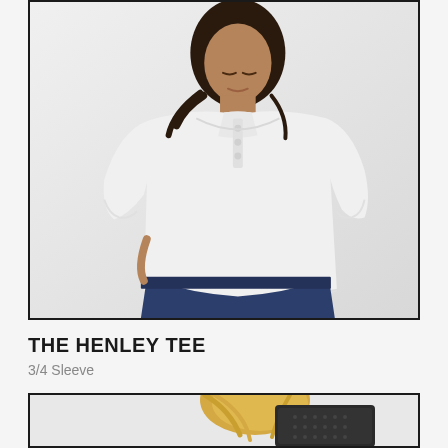[Figure (photo): A woman wearing a white 3/4 sleeve henley tee shirt with buttons at the neckline, paired with dark jeans. She has dark curly hair pulled back and is posed against a light background. The image is framed with a thick black border.]
THE HENLEY TEE
3/4 Sleeve
[Figure (photo): Partial view of a second product photo showing blonde hair and a dark item, cropped at the bottom of the page. Framed with a thick black border.]